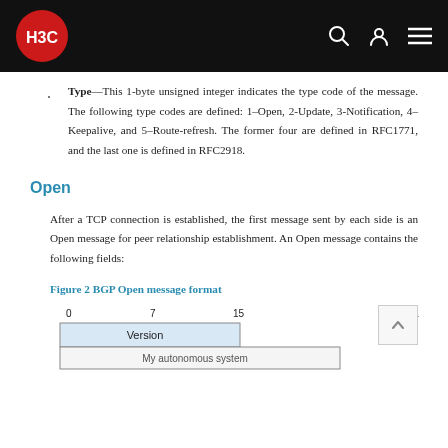H3C navigation bar
Type—This 1-byte unsigned integer indicates the type code of the message. The following type codes are defined: 1–Open, 2-Update, 3-Notification, 4–Keepalive, and 5–Route-refresh. The former four are defined in RFC1771, and the last one is defined in RFC2918.
Open
After a TCP connection is established, the first message sent by each side is an Open message for peer relationship establishment. An Open message contains the following fields:
Figure 2 BGP Open message format
[Figure (schematic): BGP Open message format diagram showing fields: Version (bits 0-7), My autonomous system (partially visible), with bit positions 0, 7, 15, 31 labeled at top.]